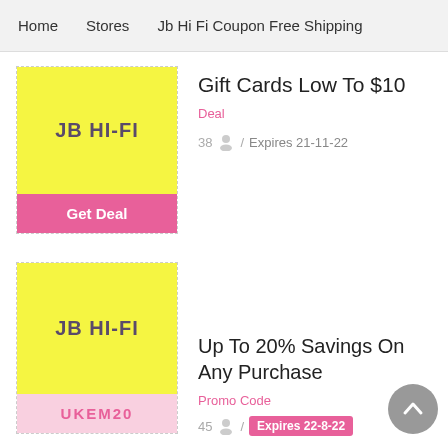Home   Stores   Jb Hi Fi Coupon Free Shipping
[Figure (logo): JB HI-FI logo on yellow background with pink Get Deal button]
Gift Cards Low To $10
Deal
38 / Expires 21-11-22
[Figure (logo): JB HI-FI logo on yellow background with pink UKEM20 promo code button]
Up To 20% Savings On Any Purchase
Promo Code
45 / Expires 22-8-22